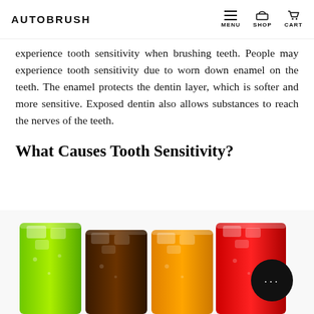AUTOBRUSH  MENU  SHOP  CART
experience tooth sensitivity when brushing teeth. People may experience tooth sensitivity due to worn down enamel on the teeth. The enamel protects the dentin layer, which is softer and more sensitive. Exposed dentin also allows substances to reach the nerves of the teeth.
What Causes Tooth Sensitivity?
[Figure (photo): Four glasses filled with colorful iced drinks lined up in a row: green, dark brown (cola), orange/yellow, and red. Ice cubes visible in each glass. A black circular chat/support button overlaps the rightmost glass.]